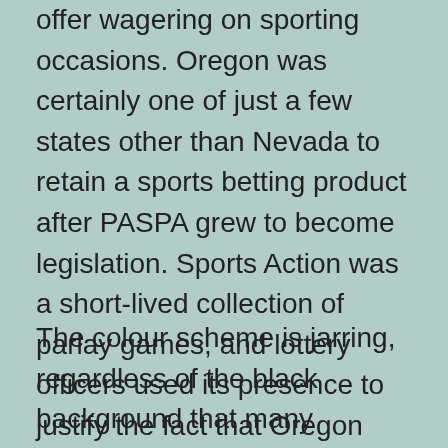offer wagering on sporting occasions. Oregon was certainly one of just a few states other than Nevada to retain a sports betting product after PASPA grew to become legislation. Sports Action was a short-lived collection of parlay games, and lottery officers used its presence to justify the fact that Oregon didn't must pass a complete other sports betting legislation.
The colour scheme is jarring, regardless of the black background that many contemplate extra appealing. This is necessary as most sports betting websites will routinely optimize in